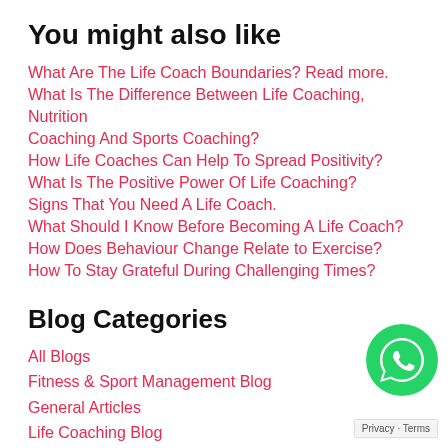You might also like
What Are The Life Coach Boundaries? Read more.
What Is The Difference Between Life Coaching, Nutrition Coaching And Sports Coaching?
How Life Coaches Can Help To Spread Positivity?
What Is The Positive Power Of Life Coaching?
Signs That You Need A Life Coach.
What Should I Know Before Becoming A Life Coach?
How Does Behaviour Change Relate to Exercise?
How To Stay Grateful During Challenging Times?
Blog Categories
All Blogs
Fitness & Sport Management Blog
General Articles
Life Coaching Blog
[Figure (logo): WhatsApp green circular icon with white phone/chat logo]
Privacy · Terms